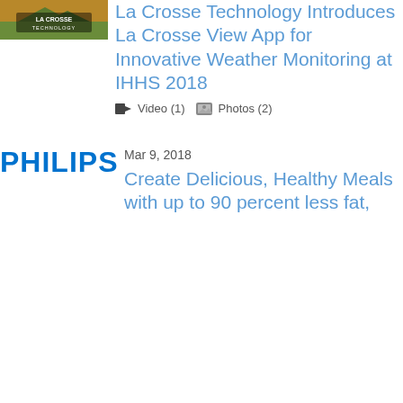[Figure (logo): La Crosse Technology logo image with orange/outdoor landscape background and 'LA CROSSE TECHNOLOGY' text]
La Crosse Technology Introduces La Crosse View App for Innovative Weather Monitoring at IHHS 2018
Video (1)  Photos (2)
[Figure (logo): PHILIPS logo in bold blue text]
Mar 9, 2018
Create Delicious, Healthy Meals with up to 90 percent less fat,